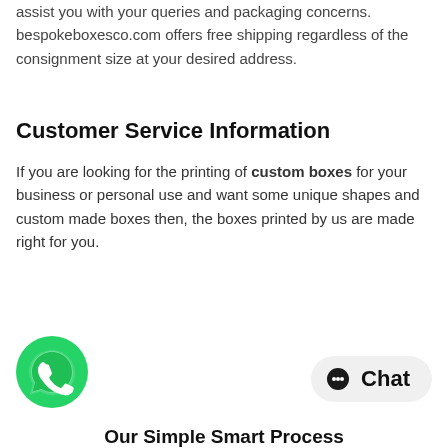assist you with your queries and packaging concerns. bespokeboxesco.com offers free shipping regardless of the consignment size at your desired address.
Customer Service Information
If you are looking for the printing of custom boxes for your business or personal use and want some unique shapes and custom made boxes then, the boxes printed by us are made right for you.
[Figure (logo): WhatsApp green circular icon with white phone/chat bubble logo]
[Figure (infographic): Chat button with dark circle icon and text 'Chat' on light grey rounded rectangle background]
Our Simple Smart Process